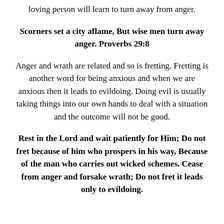loving person will learn to turn away from anger.
Scorners set a city aflame, But wise men turn away anger. Proverbs 29:8
Anger and wrath are related and so is fretting. Fretting is another word for being anxious and when we are anxious then it leads to evildoing. Doing evil is usually taking things into our own hands to deal with a situation and the outcome will not be good.
Rest in the Lord and wait patiently for Him; Do not fret because of him who prospers in his way, Because of the man who carries out wicked schemes. Cease from anger and forsake wrath; Do not fret it leads only to evildoing.